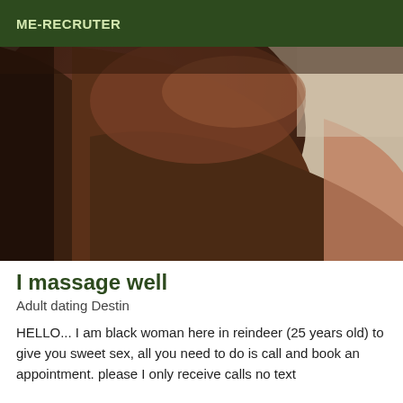ME-RECRUTER
[Figure (photo): Close-up photo of a dark-skinned person's body, showing torso/shoulder area against a light background.]
I massage well
Adult dating Destin
HELLO... I am black woman here in reindeer (25 years old) to give you sweet sex, all you need to do is call and book an appointment. please I only receive calls no text